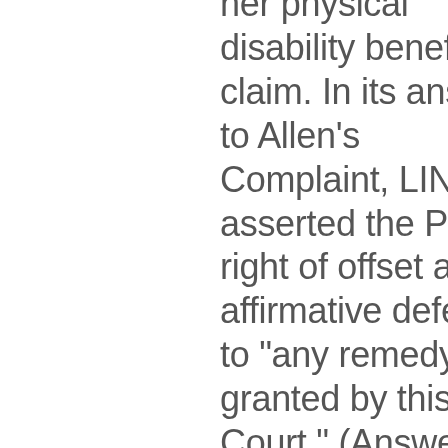her physical disability benefit claim. In its answer to Allen's Complaint, LINA asserted the Plan's right of offset as an affirmative defense to "any remedy granted by this Court." (Answer, ¶ 18.) However, it does not appear from the record that